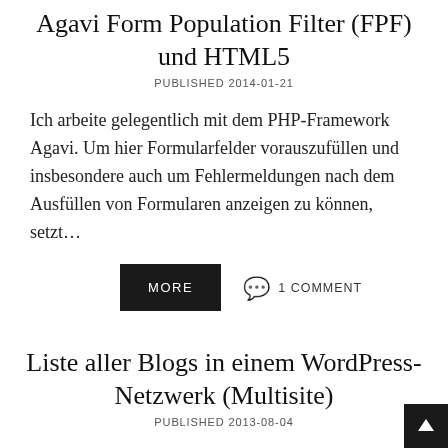Agavi Form Population Filter (FPF) und HTML5
PUBLISHED 2014-01-21
Ich arbeite gelegentlich mit dem PHP-Framework Agavi. Um hier Formularfelder vorauszufüllen und insbesondere auch um Fehlermeldungen nach dem Ausfüllen von Formularen anzeigen zu können, setzt…
MORE   1 COMMENT
Liste aller Blogs in einem WordPress-Netzwerk (Multisite)
PUBLISHED 2013-08-04
Ich verwende ungern Funktionen, die als deprecated (veraltet) markiert sind, wie in WordPress schon seit